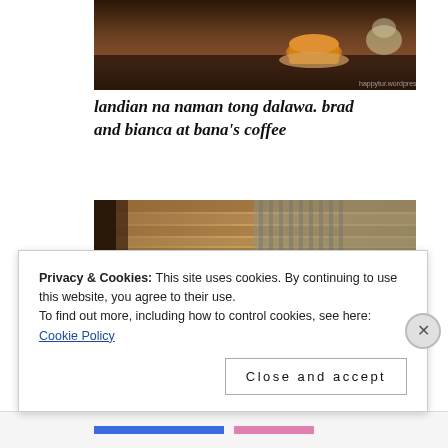[Figure (photo): Photo of a dark wooden table with tea cups and ceramic vessels on top, taken at Bana's Coffee]
landian na naman tong dalawa. brad and bianca at bana's coffee
[Figure (photo): Interior photo looking up at wooden ceiling beams and corrugated metal roof of Bana's Coffee, with trees and sky visible through open side]
Privacy & Cookies: This site uses cookies. By continuing to use this website, you agree to their use.
To find out more, including how to control cookies, see here: Cookie Policy
Close and accept